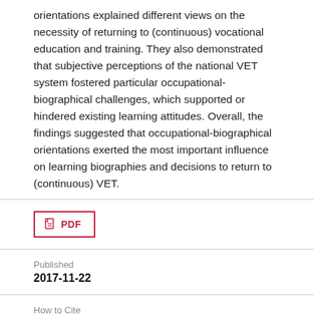orientations explained different views on the necessity of returning to (continuous) vocational education and training. They also demonstrated that subjective perceptions of the national VET system fostered particular occupational-biographical challenges, which supported or hindered existing learning attitudes. Overall, the findings suggested that occupational-biographical orientations exerted the most important influence on learning biographies and decisions to return to (continuous) VET.
[Figure (other): PDF download button with document icon]
Published
2017-11-22
How to Cite
Gericke, E. E. (2017). Why Returning to VET? Results of a Qualitative Comparative